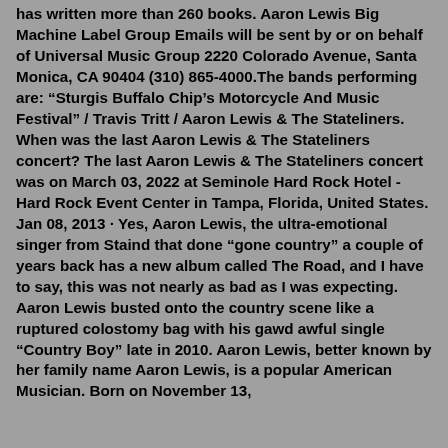has written more than 260 books. Aaron Lewis Big Machine Label Group Emails will be sent by or on behalf of Universal Music Group 2220 Colorado Avenue, Santa Monica, CA 90404 (310) 865-4000.The bands performing are: “Sturgis Buffalo Chip’s Motorcycle And Music Festival” / Travis Tritt / Aaron Lewis & The Stateliners. When was the last Aaron Lewis & The Stateliners concert? The last Aaron Lewis & The Stateliners concert was on March 03, 2022 at Seminole Hard Rock Hotel - Hard Rock Event Center in Tampa, Florida, United States. Jan 08, 2013 · Yes, Aaron Lewis, the ultra-emotional singer from Staind that done “gone country” a couple of years back has a new album called The Road, and I have to say, this was not nearly as bad as I was expecting. Aaron Lewis busted onto the country scene like a ruptured colostomy bag with his gawd awful single “Country Boy” late in 2010. Aaron Lewis, better known by her family name Aaron Lewis, is a popular American Musician. Born on November 13,